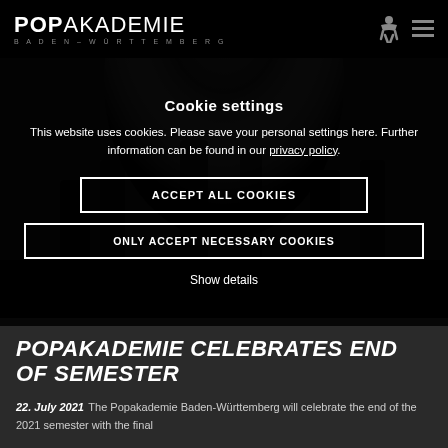POPAKADEMIE BADEN-WÜRTTEMBERG
[Figure (photo): Dark concert photo showing musicians performing on stage with dramatic lighting]
Cookie settings
This website uses cookies. Please save your personal settings here. Further information can be found in our privacy policy.
ACCEPT ALL COOKIES
ONLY ACCEPT NECESSARY COOKIES
Show details
POPAKADEMIE CELEBRATES END OF SEMESTER
22. July 2021 The Popakademie Baden-Württemberg will celebrate the end of the 2021 semester with the final